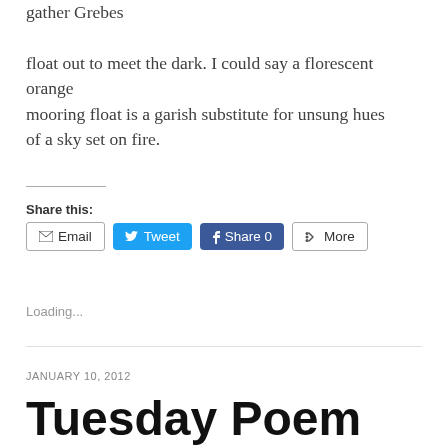gather Grebes

float out to meet the dark. I could say a florescent orange
mooring float is a garish substitute for unsung hues
of a sky set on fire.
Share this:
Email  Tweet  Share 0  More
Loading...
JANUARY 10, 2012
Tuesday Poem